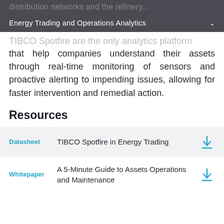Energy Trading and Operations Analytics
distribution networks and the refinery TIBCO Spotfire are the only analytics platform that help companies understand their assets through real-time monitoring of sensors and proactive alerting to impending issues, allowing for faster intervention and remedial action.
Resources
Datasheet | TIBCO Spotfire in Energy Trading
Whitepaper | A 5-Minute Guide to Assets Operations and Maintenance